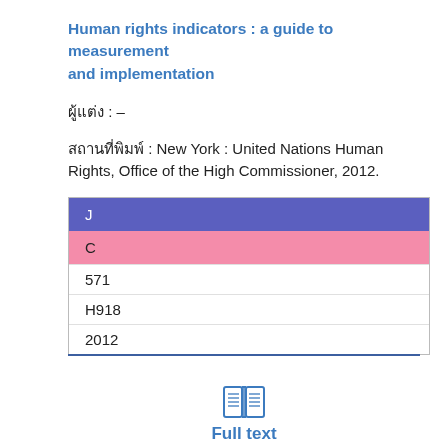Human rights indicators : a guide to measurement and implementation
ผู้แต่ง : –
สถานที่พิมพ์ : New York : United Nations Human Rights, Office of the High Commissioner, 2012.
| J |
| C |
| 571 |
| H918 |
| 2012 |
[Figure (other): Book/full text icon]
Full text